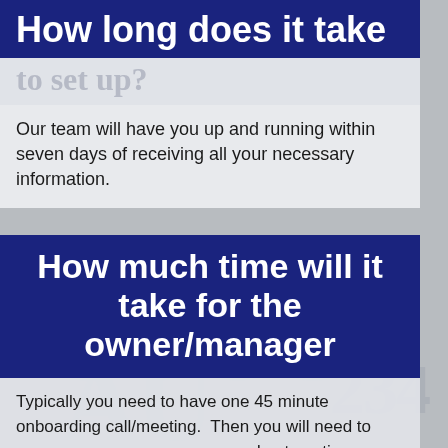How long does it take
to set up?
Our team will have you up and running within seven days of receiving all your necessary information.
How much time will it take for the owner/manager
Typically you need to have one 45 minute onboarding call/meeting. Then you will need to approve your new programs and automations systems. The approval process should only take about 15 minutes or less. We make the process stress free.